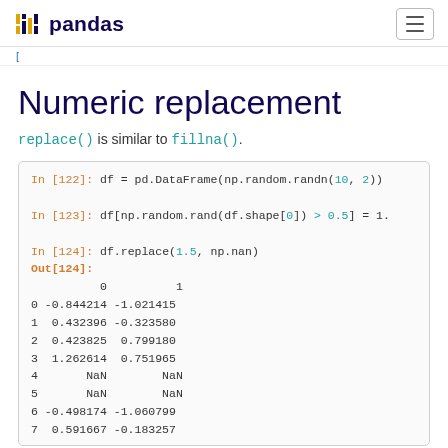pandas
[
Numeric replacement
replace() is similar to fillna().
In [122]: df = pd.DataFrame(np.random.randn(10, 2))
In [123]: df[np.random.rand(df.shape[0]) > 0.5] = 1.
In [124]: df.replace(1.5, np.nan)
Out[124]:
          0          1
0 -0.844214 -1.021415
1  0.432396 -0.323580
2  0.423825  0.799180
3  1.262614  0.751965
4       NaN        NaN
5       NaN        NaN
6 -0.498174 -1.060799
7  0.591667 -0.183257